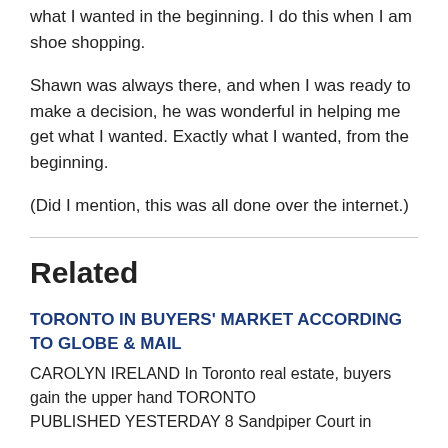what I wanted in the beginning. I do this when I am shoe shopping.
Shawn was always there, and when I was ready to make a decision, he was wonderful in helping me get what I wanted. Exactly what I wanted, from the beginning.
(Did I mention, this was all done over the internet.)
Related
TORONTO IN BUYERS' MARKET ACCORDING TO GLOBE & MAIL
CAROLYN IRELAND In Toronto real estate, buyers gain the upper hand TORONTO
PUBLISHED YESTERDAY 8 Sandpiper Court in